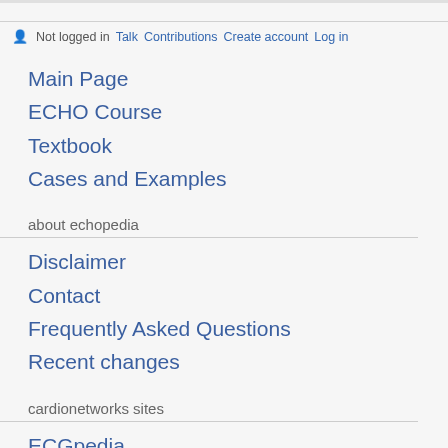Not logged in  Talk  Contributions  Create account  Log in
Main Page
ECHO Course
Textbook
Cases and Examples
about echopedia
Disclaimer
Contact
Frequently Asked Questions
Recent changes
cardionetworks sites
ECGpedia